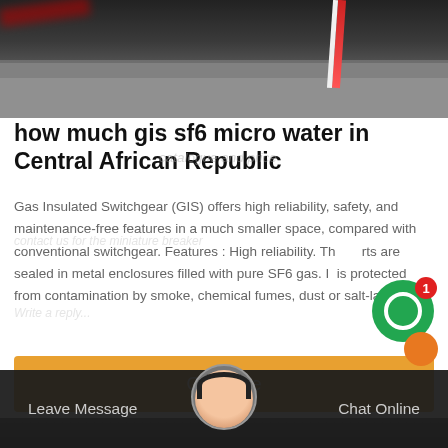[Figure (photo): Top portion of a road/gravel surface photograph with red and white striped pole visible]
how much gis sf6 micro water in Central African Republic
Gas Insulated Switchgear (GIS) offers high reliability, safety, and maintenance-free features in a much smaller space, compared with conventional switchgear. Features : High reliability. The parts are sealed in metal enclosures filled with pure SF6 gas. It is protected from contamination by smoke, chemical fumes, dust or salt-laden
[Figure (other): Green circular chat/messaging button with notification badge showing 1]
[Figure (other): Orange Get Price button]
[Figure (photo): Bottom dark image strip with customer service agent avatar in center, Leave Message on left, Chat Online on right]